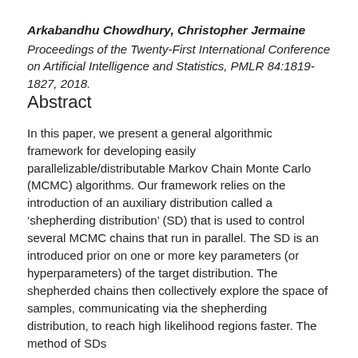Arkabandhu Chowdhury, Christopher Jermaine
Proceedings of the Twenty-First International Conference on Artificial Intelligence and Statistics, PMLR 84:1819-1827, 2018.
Abstract
In this paper, we present a general algorithmic framework for developing easily parallelizable/distributable Markov Chain Monte Carlo (MCMC) algorithms. Our framework relies on the introduction of an auxiliary distribution called a 'shepherding distribution' (SD) that is used to control several MCMC chains that run in parallel. The SD is an introduced prior on one or more key parameters (or hyperparameters) of the target distribution. The shepherded chains then collectively explore the space of samples, communicating via the shepherding distribution, to reach high likelihood regions faster. The method of SDs